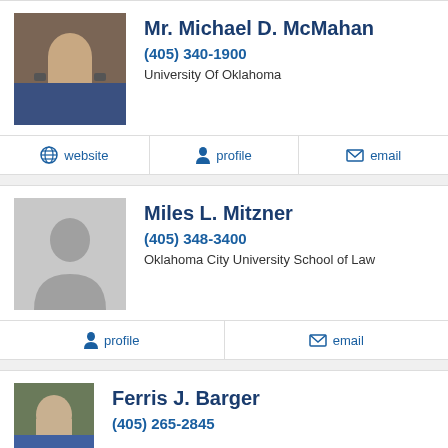[Figure (photo): Headshot photo of Mr. Michael D. McMahan]
Mr. Michael D. McMahan
(405) 340-1900
University Of Oklahoma
website | profile | email
[Figure (illustration): Gray placeholder silhouette for Miles L. Mitzner]
Miles L. Mitzner
(405) 348-3400
Oklahoma City University School of Law
profile | email
[Figure (photo): Headshot photo of Ferris J. Barger]
Ferris J. Barger
(405) 265-2845